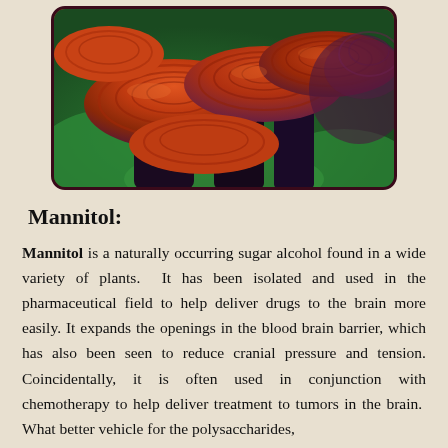[Figure (photo): Close-up photo of multiple Reishi (Ganoderma lucidum) mushrooms with distinctive red-orange layered caps with concentric ring patterns, against a green leafy background.]
Mannitol:
Mannitol is a naturally occurring sugar alcohol found in a wide variety of plants.  It has been isolated and used in the pharmaceutical field to help deliver drugs to the brain more easily. It expands the openings in the blood brain barrier, which has also been seen to reduce cranial pressure and tension. Coincidentally, it is often used in conjunction with chemotherapy to help deliver treatment to tumors in the brain.  What better vehicle for the polysaccharides, triterpenes and the other nutrition providing it... So Mannitol